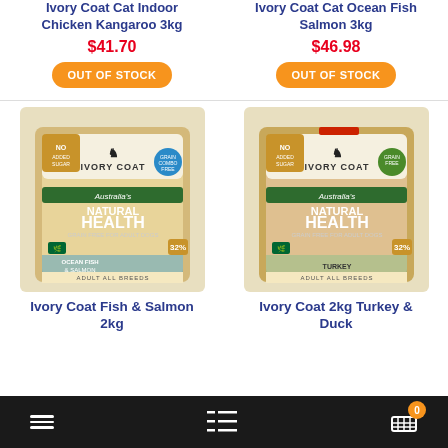Ivory Coat Cat Indoor Chicken Kangaroo 3kg
$41.70
OUT OF STOCK
Ivory Coat Cat Ocean Fish Salmon 3kg
$46.98
OUT OF STOCK
[Figure (photo): Ivory Coat Natural Health Ocean Fish & Salmon Adult All Breeds dog food bag, 2kg, grain free]
[Figure (photo): Ivory Coat Natural Health Turkey & Duck Adult All Breeds dog food bag, 2kg, grain free]
Ivory Coat Fish & Salmon 2kg
Ivory Coat 2kg Turkey & Duck
0